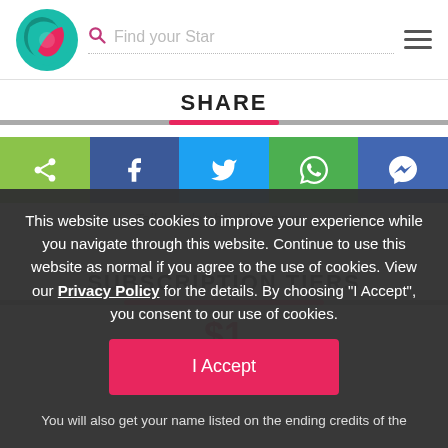Find your Star
SHARE
[Figure (other): Social sharing buttons row: Share (green), Facebook (dark blue), Twitter (light blue), WhatsApp (green), Messenger (blue)]
Tell people about this page...
SUBSCRIPTION TIERS
$1
This website uses cookies to improve your experience while you navigate through this website. Continue to use this website as normal if you agree to the use of cookies. View our Privacy Policy for the details. By choosing "I Accept", you consent to our use of cookies.
I Accept
You will also get your name listed on the ending credits of the